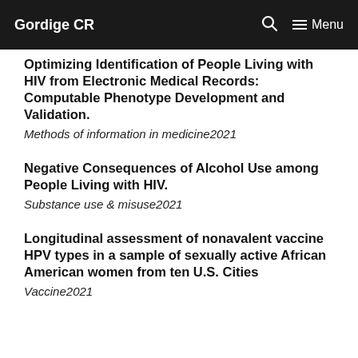Gordige CR  Menu
Optimizing Identification of People Living with HIV from Electronic Medical Records: Computable Phenotype Development and Validation.
Methods of information in medicine2021
Negative Consequences of Alcohol Use among People Living with HIV.
Substance use & misuse2021
Longitudinal assessment of nonavalent vaccine HPV types in a sample of sexually active African American women from ten U.S. Cities
Vaccine2021